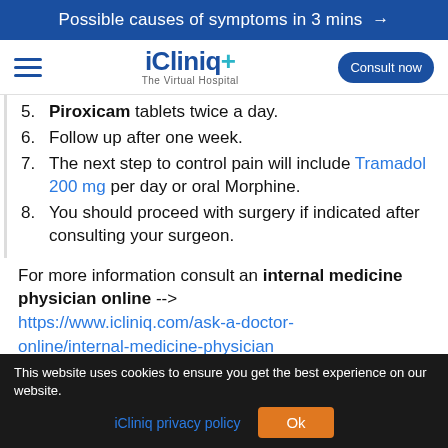Possible causes of symptoms in 3 mins →
[Figure (logo): iCliniq+ The Virtual Hospital logo with hamburger menu and Consult now button]
5. Piroxicam tablets twice a day.
6. Follow up after one week.
7. The next step to control pain will include Tramadol 200 mg per day or oral Morphine.
8. You should proceed with surgery if indicated after consulting your surgeon.
For more information consult an internal medicine physician online --> https://www.icliniq.com/ask-a-doctor-online/internal-medicine-physician
This website uses cookies to ensure you get the best experience on our website. iCliniq privacy policy  Ok